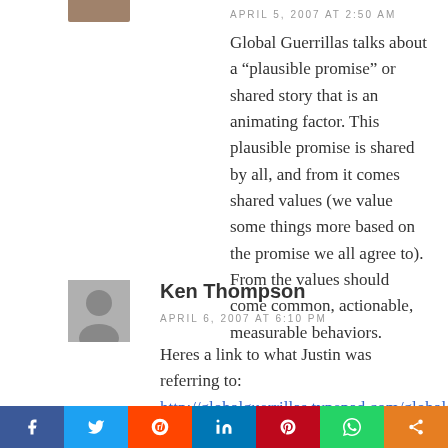APRIL 5, 2007 AT 2:50 AM
Global Guerrillas talks about a “plausible promise” or shared story that is an animating factor. This plausible promise is shared by all, and from it comes shared values (we value some things more based on the promise we all agree to). From the values should come common, actionable, measurable behaviors.
Ken Thompson
APRIL 6, 2007 AT 6:10 PM
Heres a link to what Justin was referring to: http://globalguerrillas.typepad.com/globalguerrillas/2006/04/journal_how_net.html